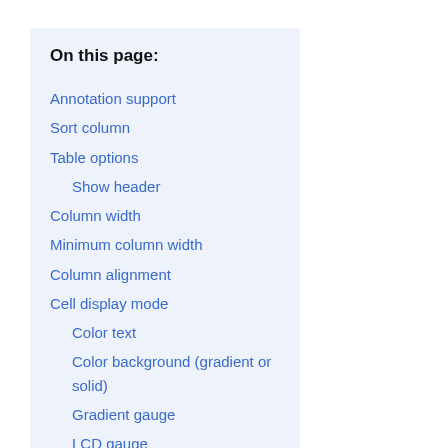On this page:
Annotation support
Sort column
Table options
Show header
Column width
Minimum column width
Column alignment
Cell display mode
Color text
Color background (gradient or solid)
Gradient gauge
LCD gauge
JSON view
Image
Cell value inspect